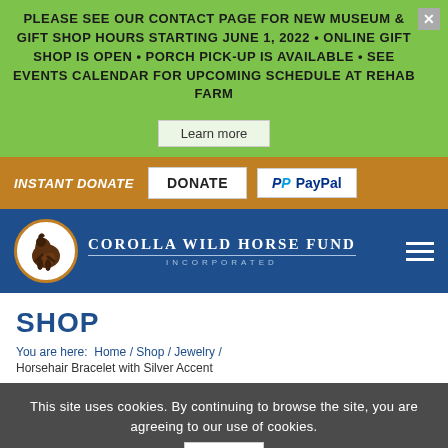PLEASE SEE OUR CONTACT PAGE FOR NEW MUSEUM & GIFT SHOP HOURS STARTING JUNE 1, 2022 • ONLINE GIFT SHOP IS OPEN • PORCH PICK-UP IS AVAILABLE • SEE EVENTS CALENDAR FOR UPCOMING SCHEDULE AT REHAB FARM
Learn more
INSTANT DONATE  DONATE  PayPal
[Figure (logo): Corolla Wild Horse Fund Incorporated logo – circular emblem with horse silhouette, white and brown on blue background]
SHOP
You are here: Home / Shop / Jewelry / Horsehair Bracelet with Silver Accent
This site uses cookies. By continuing to browse the site, you are agreeing to our use of cookies.
OK